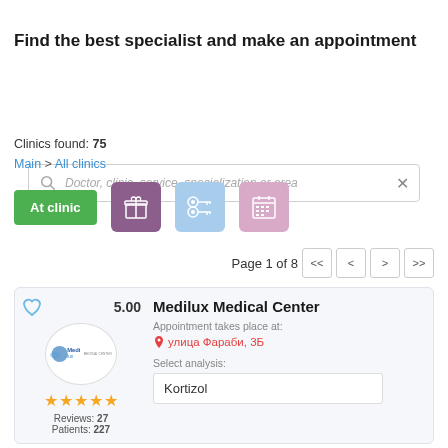Find the best specialist and make an appointment
Doctor, clinic, service, specialization or area
Clinics found: 75
Main > All clinics
At clinic
Page 1 of 8
Medilux Medical Center
Appointment takes place at:
улица Фараби, 3Б
Select analysis:
Kortizol
Reviews: 27
Patients: 227
5.00